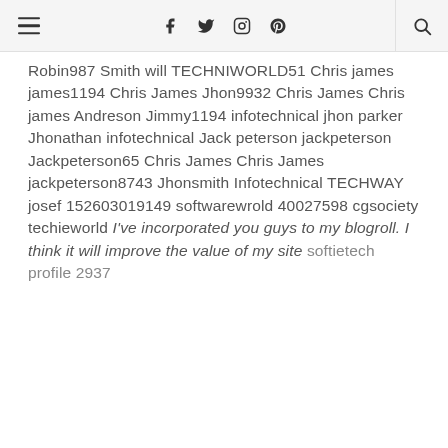hamburger menu | social icons: f, twitter, instagram, pinterest | search
Robin987 Smith will TECHNIWORLD51 Chris james james1194 Chris James Jhon9932 Chris James Chris james Andreson Jimmy1194 infotechnical jhon parker Jhonathan infotechnical Jack peterson jackpeterson Jackpeterson65 Chris James Chris James jackpeterson8743 Jhonsmith Infotechnical TECHWAY josef 152603019149 softwarewrold 40027598 cgsociety techieworld I've incorporated you guys to my blogroll. I think it will improve the value of my site softietech profile 2937